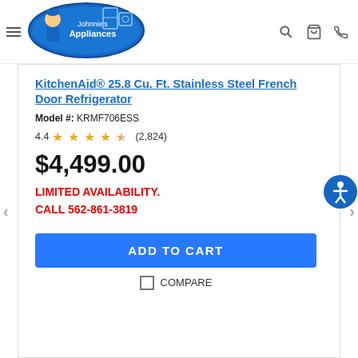[Figure (logo): Johnnie's Appliances logo with cartoon appliance repairman]
KitchenAid® 25.8 Cu. Ft. Stainless Steel French Door Refrigerator
Model #: KRMF706ESS
4.4 ★★★★☆ (2,824)
$4,499.00
LIMITED AVAILABILITY.
CALL 562-861-3819
ADD TO CART
COMPARE